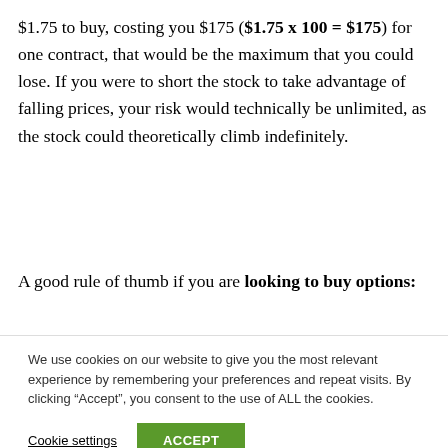$1.75 to buy, costing you $175 ($1.75 x 100 = $175) for one contract, that would be the maximum that you could lose. If you were to short the stock to take advantage of falling prices, your risk would technically be unlimited, as the stock could theoretically climb indefinitely.
A good rule of thumb if you are looking to buy options:
We use cookies on our website to give you the most relevant experience by remembering your preferences and repeat visits. By clicking “Accept”, you consent to the use of ALL the cookies.